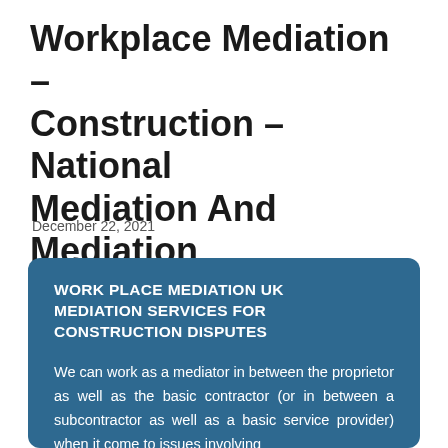Workplace Mediation – Construction – National Mediation And Mediation
December 22, 2021
WORK PLACE MEDIATION UK MEDIATION SERVICES FOR CONSTRUCTION DISPUTES
We can work as a mediator in between the proprietor as well as the basic contractor (or in between a subcontractor as well as a basic service provider) when it come to issues involving